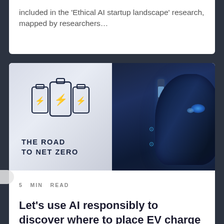included in the ‘Ethical AI startup landscape’ research, mapped by researchers…
[Figure (photo): Split image: left half shows a white background with illustrated battery icons and bold text reading 'THE ROAD TO NET ZERO'; right half shows a dark blue-toned photo of an electric vehicle at a charging station with glowing blue lights.]
5 MIN READ
Let’s use AI responsibly to discover where to place EV charge points